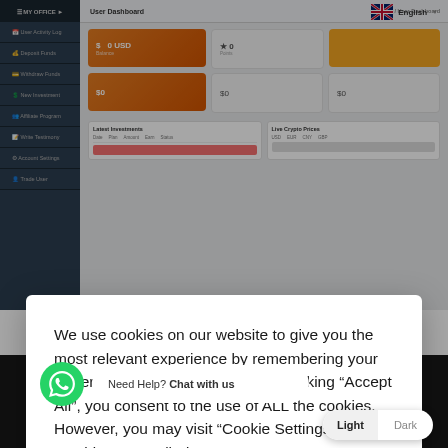[Figure (screenshot): Blurred cryptocurrency investment website user dashboard screenshot showing sidebar navigation, stat cards with USD and BTC values, latest investments table, and live crypto prices table]
We use cookies on our website to give you the most relevant experience by remembering your preferences and repeat visits. By clicking “Accept All”, you consent to the use of ALL the cookies. However, you may visit “Cookie Settings” to provide a controlled consent.
Cookie Settings
Accept All
[Figure (screenshot): Bottom banner of a cryptocurrency website showing a large gold Bitcoin coin graphic, text 'Largest Bitcoin ...ng company' and 'Start bitcoin mining today', WhatsApp chat button, chat bubble saying 'Need Help? Chat with us', and Light/Dark mode toggle]